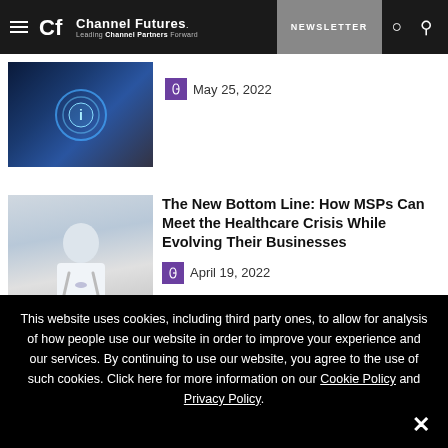Channel Futures – Leading Channel Partners Forward | NEWSLETTER
[Figure (screenshot): Thumbnail image with digital/tech theme, glowing blue circle with info icon]
May 25, 2022
[Figure (photo): Doctor in white coat with stethoscope]
The New Bottom Line: How MSPs Can Meet the Healthcare Crisis While Evolving Their Businesses
April 19, 2022
This website uses cookies, including third party ones, to allow for analysis of how people use our website in order to improve your experience and our services. By continuing to use our website, you agree to the use of such cookies. Click here for more information on our Cookie Policy and Privacy Policy.